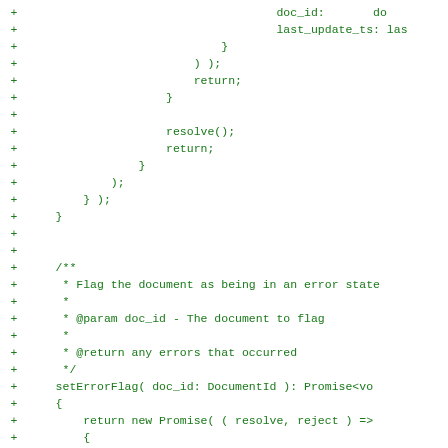Code diff showing added lines with + markers in green monospace font, including JavaScript/TypeScript code with resolve(), return, closing braces, JSDoc comment block for setErrorFlag method, and implementation with Promise, _collection.update calls